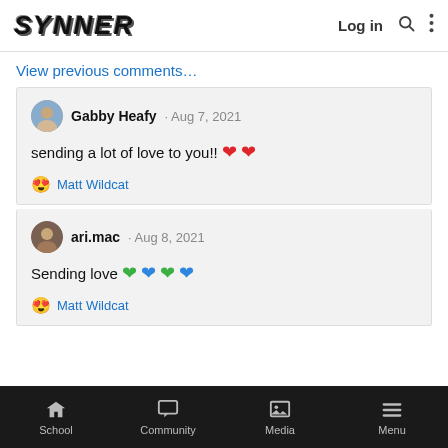SYNNER  Log in
View previous comments…
Gabby Heafy · Aug 7, 2021
sending a lot of love to you!! ❤️❤️
😍 Matt Wildcat
ari.mac · Aug 8, 2021
Sending love 💚💙💚💙
😍 Matt Wildcat
School  Community  Media  Menu